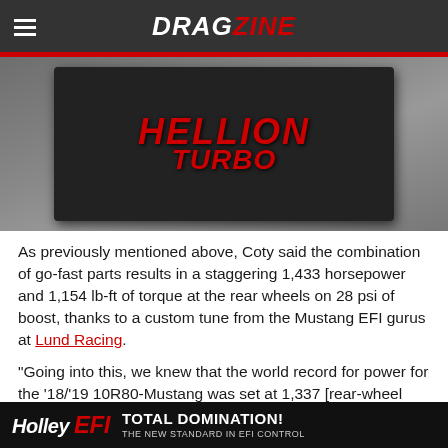DRAGZINE
[Figure (photo): A Hellion Turbo kit box wrapped in black plastic on a pallet in a warehouse. The box has red stylized text reading HELLION TURBO.]
As previously mentioned above, Coty said the combination of go-fast parts results in a staggering 1,433 horsepower and 1,154 lb-ft of torque at the rear wheels on 28 psi of boost, thanks to a custom tune from the Mustang EFI gurus at Lund Racing.
“Going into this, we knew that the world record for power for the ’18/’19 10R80-Mustang was set at 1,337 [rear-wheel horsepower]; and we went right over that
[Figure (logo): Holley EFI advertisement banner with text: Holley EFI - TOTAL DOMINATION! THE NEW STANDARD IN EFI CONTROL]